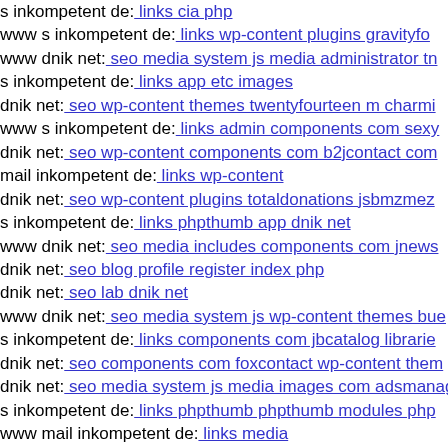s inkompetent de: links cia php
www s inkompetent de: links wp-content plugins gravityfo
www dnik net: seo media system js media administrator tn
s inkompetent de: links app etc images
dnik net: seo wp-content themes twentyfourteen m charmi
www s inkompetent de: links admin components com sexy
dnik net: seo wp-content components com b2jcontact com
mail inkompetent de: links wp-content
dnik net: seo wp-content plugins totaldonations jsbmzmez
s inkompetent de: links phpthumb app dnik net
www dnik net: seo media includes components com jnews
dnik net: seo blog profile register index php
dnik net: seo lab dnik net
www dnik net: seo media system js wp-content themes bue
s inkompetent de: links components com jbcatalog librarie
dnik net: seo components com foxcontact wp-content them
dnik net: seo media system js media images com adsmanag
s inkompetent de: links phpthumb phpthumb modules php
www mail inkompetent de: links media
s inkompetent de: links app etc skin administrator compon
mail inkompetent de: links components com inewsletter i